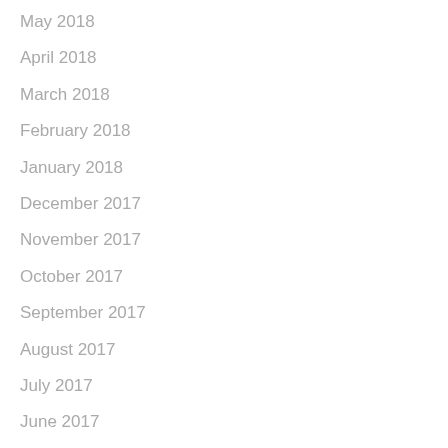May 2018
April 2018
March 2018
February 2018
January 2018
December 2017
November 2017
October 2017
September 2017
August 2017
July 2017
June 2017
May 2017
April 2017
March 2017
February 2017
January 2017